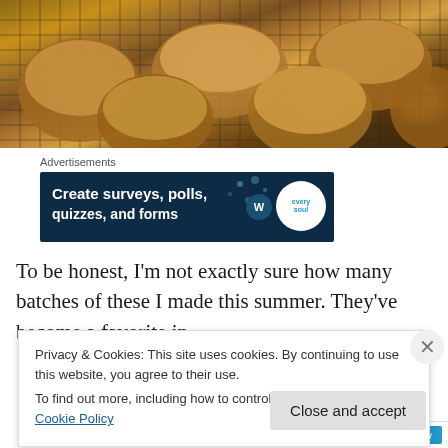[Figure (photo): Baked muffins cooling on a wire rack, photographed from above, warm brown tones]
Advertisements
[Figure (screenshot): Advertisement banner with dark blue background reading 'Create surveys, polls, quizzes, and forms' with a circular logo on the right]
To be honest, I'm not exactly sure how many batches of these I made this summer.  They've become a favorite in
Privacy & Cookies: This site uses cookies. By continuing to use this website, you agree to their use.
To find out more, including how to control cookies, see here: Cookie Policy
Close and accept